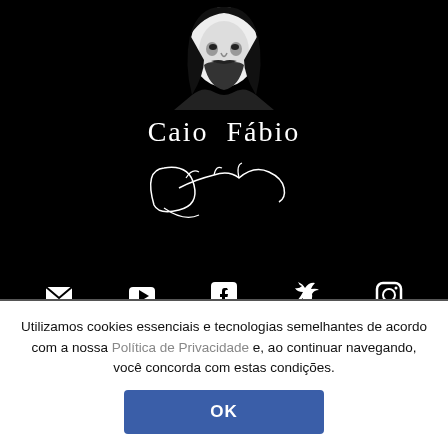[Figure (illustration): Black and white portrait of a man with long hair and beard, high contrast, on black background]
Caio Fábio
[Figure (illustration): Handwritten cursive signature of Caio Fábio on black background]
Contato  YouTube  Facebook  Twitter  Instagram
Utilizamos cookies essenciais e tecnologias semelhantes de acordo com a nossa Política de Privacidade e, ao continuar navegando, você concorda com estas condições.
OK